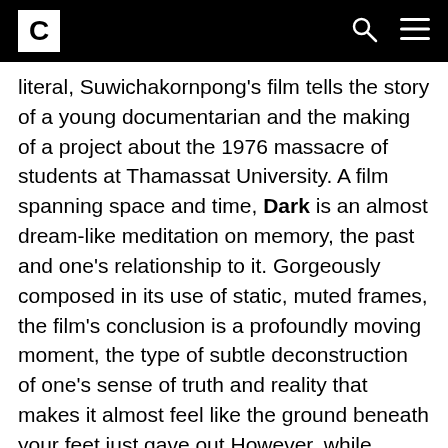C [logo]
literal, Suwichakornpong's film tells the story of a young documentarian and the making of a project about the 1976 massacre of students at Thamassat University. A film spanning space and time, Dark is an almost dream-like meditation on memory, the past and one's relationship to it. Gorgeously composed in its use of static, muted frames, the film's conclusion is a profoundly moving moment, the type of subtle deconstruction of one's sense of truth and reality that makes it almost feel like the ground beneath your feet just gave out.However, while Weerasethakul's films are obtuse in ways vastly more surreal, Suwichakornpong's film is slightly more grounded in reality, using its focus on memory and one's relationship to it to infuse a more dream-like atmosphere. Punctuated by one of the decade's great final scenes, Dark is told primarily through static, muted frames that all form into a